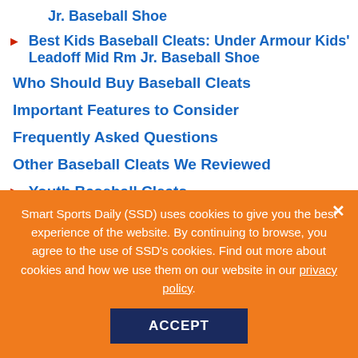Jr. Baseball Shoe
Best Kids Baseball Cleats: Under Armour Kids' Leadoff Mid Rm Jr. Baseball Shoe
Who Should Buy Baseball Cleats
Important Features to Consider
Frequently Asked Questions
Other Baseball Cleats We Reviewed
Youth Baseball Cleats
Kids Baseball Cleats
Smart Sports Daily (SSD) uses cookies to give you the best experience of the website. By continuing to browse, you agree to the use of SSD's cookies. Find out more about cookies and how we use them on our website in our privacy policy.